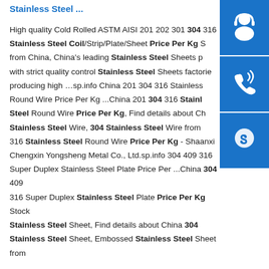Stainless Steel ...
High quality Cold Rolled ASTM AISI 201 202 301 304 316 Stainless Steel Coil/Strip/Plate/Sheet Price Per Kg S... from China, China's leading Stainless Steel Sheets p... with strict quality control Stainless Steel Sheets factories, producing high …sp.info China 201 304 316 Stainless... Round Wire Price Per Kg ...China 201 304 316 Stainless Steel Round Wire Price Per Kg, Find details about Ch... Stainless Steel Wire, 304 Stainless Steel Wire from 316 Stainless Steel Round Wire Price Per Kg - Shaanxi Chengxin Yongsheng Metal Co., Ltd.sp.info 304 409 316 Super Duplex Stainless Steel Plate Price Per ...China 304 409 316 Super Duplex Stainless Steel Plate Price Per Kg Stock Stainless Steel Sheet, Find details about China 304 Stainless Steel Sheet, Embossed Stainless Steel Sheet from
[Figure (illustration): Three blue sidebar buttons: headset/customer service icon, phone/call icon, and Skype icon]